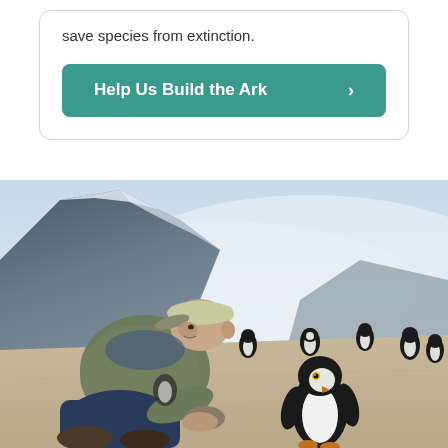save species from extinction.
Help Us Build the Ark ›
[Figure (photo): A man crouching down on sandy ground looking at a penguin close up, with more penguins in the background and a snow-capped rocky mountain behind them in Antarctica.]